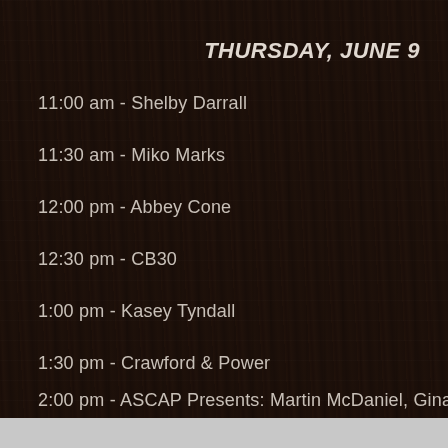THURSDAY, JUNE 9
11:00 am - Shelby Darrall
11:30 am - Miko Marks
12:00 pm - Abbey Cone
12:30 pm - CB30
1:00 pm - Kasey Tyndall
1:30 pm - Crawford & Power
2:00 pm - ASCAP Presents: Martin McDaniel, Gina Venier,
3:00 pm - Skyelor Anderson